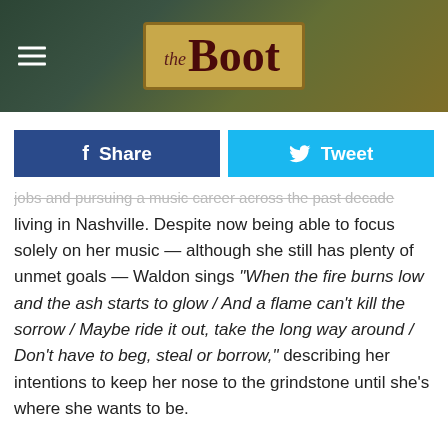[Figure (logo): The Boot website logo with hamburger menu icon on dark banner background]
[Figure (screenshot): Share and Tweet social media buttons row]
jobs and pursuing a music career across the past decade living in Nashville. Despite now being able to focus solely on her music — although she still has plenty of unmet goals — Waldon sings "When the fire burns low and the ash starts to glow / And a flame can't kill the sorrow / Maybe ride it out, take the long way around / Don't have to beg, steal or borrow," describing her intentions to keep her nose to the grindstone until she's where she wants to be.